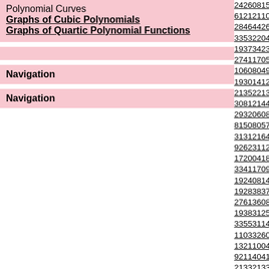Polynomial Curves
Graphs of Cubic Polynomials
Graphs of Quartic Polynomial Functions
Navigation
Navigation
242608156776
612121105808
2846442610504
3353220422301
1937342347905
2741170593910
106080492102
1930141290002
2135221315403
308121447501
2932060806818
815080574902
313121644401
926231125402
1720041817101
3341170910403
1924081401102
1928383788901
2761360847208
1938312563601
3355311455702
110332602909
1321100462903
921140412201
2133213324101
2262421825512